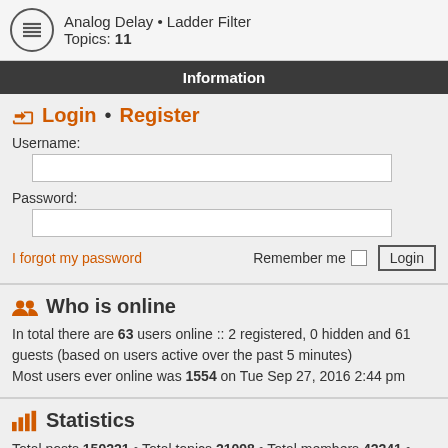Analog Delay • Ladder Filter Topics: 11
Information
Login • Register
Username:
Password:
I forgot my password    Remember me  Login
Who is online
In total there are 63 users online :: 2 registered, 0 hidden and 61 guests (based on users active over the past 5 minutes) Most users ever online was 1554 on Tue Sep 27, 2016 2:44 pm
Statistics
Total posts 159221 • Total topics 21098 • Total members 42241 • Our newest member yoshlyaabiko